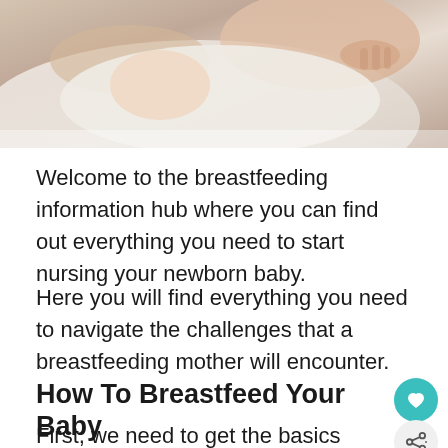[Figure (photo): Close-up photo of a mother breastfeeding a newborn baby, showing hands and infant wrapped in white fabric]
Welcome to the breastfeeding information hub where you can find out everything you need to start nursing your newborn baby.
Here you will find everything you need to navigate the challenges that a breastfeeding mother will encounter.
How To Breastfeed Your Baby
First, we need to get the basics right. A lot this will be instinctual at first, but spending